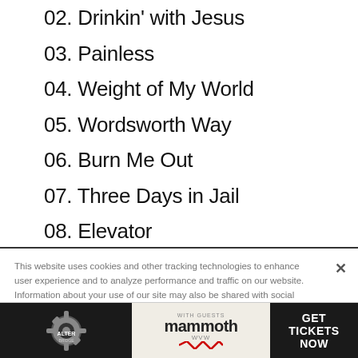02. Drinkin' with Jesus
03. Painless
04. Weight of My World
05. Wordsworth Way
06. Burn Me Out
07. Three Days in Jail
08. Elevator
09. Running with the Bulls
This website uses cookies and other tracking technologies to enhance user experience and to analyze performance and traffic on our website. Information about your use of our site may also be shared with social media, advertising, retail and analytics providers and partners. Privacy Policy
[Figure (advertisement): Alter Bridge Pawns & Kings concert advertisement with Mammoth WVW. Get Tickets Now.]